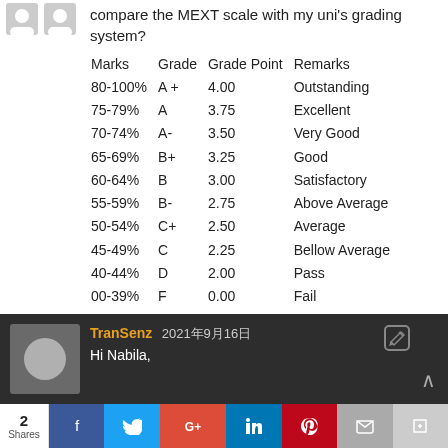compare the MEXT scale with my uni's grading system?
| Marks | Grade | Grade Point | Remarks |
| --- | --- | --- | --- |
| 80-100% | A + | 4.00 | Outstanding |
| 75-79% | A | 3.75 | Excellent |
| 70-74% | A- | 3.50 | Very Good |
| 65-69% | B+ | 3.25 | Good |
| 60-64% | B | 3.00 | Satisfactory |
| 55-59% | B- | 2.75 | Above Average |
| 50-54% | C+ | 2.50 | Average |
| 45-49% | C | 2.25 | Bellow Average |
| 40-44% | D | 2.00 | Pass |
| 00-39% | F | 0.00 | Fail |
Reply
TranSenz 2021年9月16日
Hi Nabila,